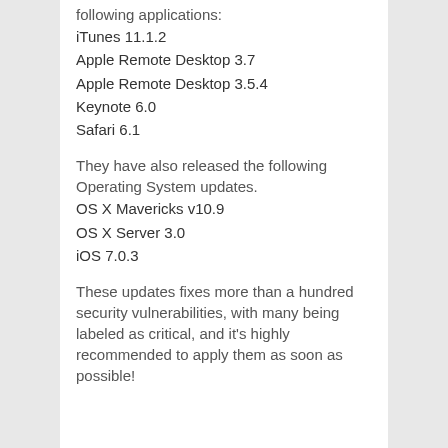following applications:
iTunes 11.1.2
Apple Remote Desktop 3.7
Apple Remote Desktop 3.5.4
Keynote 6.0
Safari 6.1
They have also released the following Operating System updates.
OS X Mavericks v10.9
OS X Server 3.0
iOS 7.0.3
These updates fixes more than a hundred security vulnerabilities, with many being labeled as critical, and it's highly recommended to apply them as soon as possible!